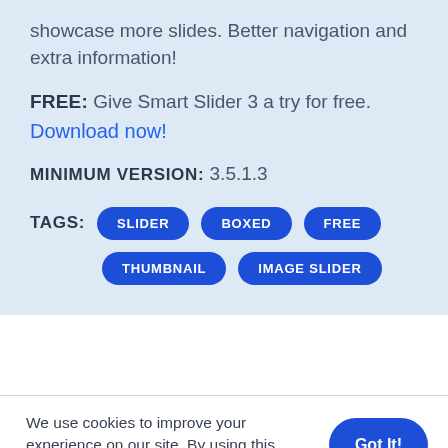showcase more slides. Better navigation and extra information!
FREE: Give Smart Slider 3 a try for free.
Download now!
MINIMUM VERSION: 3.5.1.3
TAGS: SLIDER BOXED FREE THUMBNAIL IMAGE SLIDER
We use cookies to improve your experience on our site. By using this website you agree to our Cookie Policy.